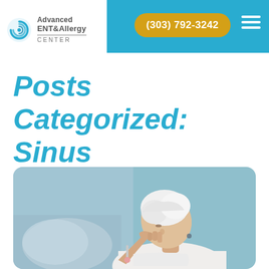Advanced ENT & Allergy Center | (303) 792-3242
Posts Categorized: Sinus
[Figure (photo): Elderly woman with white hair pressing her hand to her nose/sinus area, appearing to be in pain or discomfort from sinus issues, holding a thermometer, seated with a blurred background]